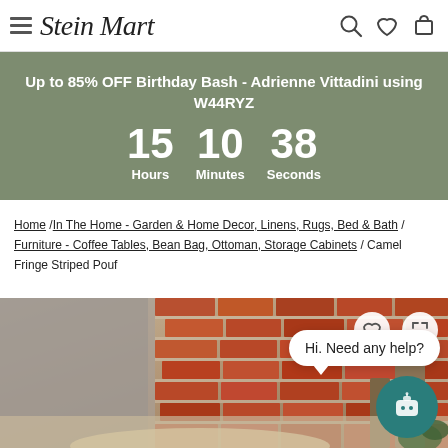Stein Mart
Up to 85% OFF Birthday Bash - Adrienne Vittadini using W44RYZ
15 Hours  10 Minutes  38 Seconds
Home / In The Home - Garden & Home Decor, Linens, Rugs, Bed & Bath / Furniture - Coffee Tables, Bean Bag, Ottoman, Storage Cabinets / Camel Fringe Striped Pouf
[Figure (photo): Product page image showing a camel fringe striped pouf ottoman in a rustic brick-walled room setting with wooden furniture and greenery. A chat bubble saying 'Hi. Need any help?' and a teal chatbot icon are overlaid on the image.]